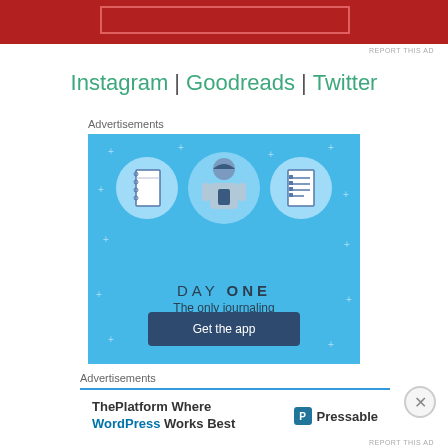[Figure (illustration): Red banner at top of page with a lighter red rectangle outline inside]
REPORT THIS AD
Instagram | Goodreads | Twitter
Advertisements
[Figure (illustration): Day One journaling app advertisement on blue background with illustrated person and notebook icons, tagline 'The only journaling app you'll ever need.' and a 'Get the app' button]
Advertisements
[Figure (illustration): Pressable advertisement: 'ThePlatform Where WordPress Works Best' with Pressable logo on white background with blue top border]
REPORT THIS AD